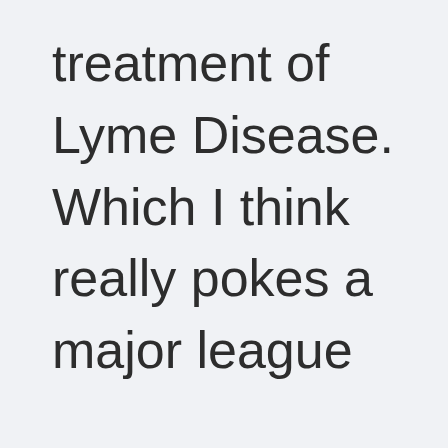treatment of Lyme Disease. Which I think really pokes a major league